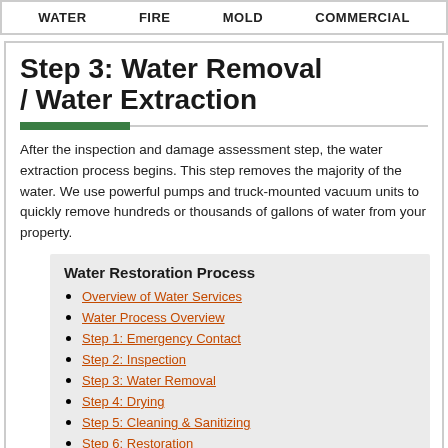WATER   FIRE   MOLD   COMMERCIAL
Step 3: Water Removal / Water Extraction
After the inspection and damage assessment step, the water extraction process begins. This step removes the majority of the water. We use powerful pumps and truck-mounted vacuum units to quickly remove hundreds or thousands of gallons of water from your property.
Water Restoration Process
Overview of Water Services
Water Process Overview
Step 1: Emergency Contact
Step 2: Inspection
Step 3: Water Removal
Step 4: Drying
Step 5: Cleaning & Sanitizing
Step 6: Restoration